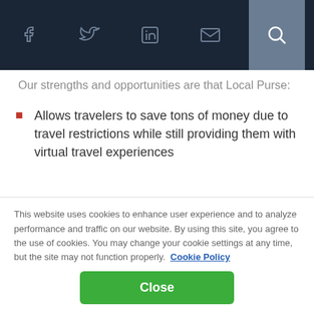Social media icons and search nav bar
Our strengths and opportunities are that Local Purse:
Allows travelers to save tons of money due to travel restrictions while still providing them with virtual travel experiences
Helps travelers reduce their carbon footprints
Provides access to and includes people who may not
This website uses cookies to enhance user experience and to analyze performance and traffic on our website. By using this site, you agree to the use of cookies. You may change your cookie settings at any time, but the site may not function properly.  Cookie Policy